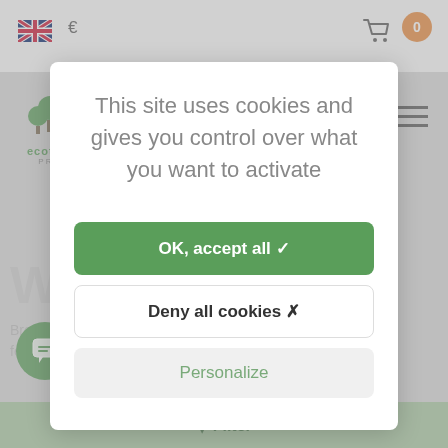[Figure (screenshot): EcoTree Pro website background with navigation bar showing UK flag, euro sign, shopping cart with orange badge showing 0, EcoTree Pro logo, hamburger menu, and a partially visible page with 'W...op' heading and body text fragments, plus a chat button and green filter bar at bottom]
This site uses cookies and gives you control over what you want to activate
OK, accept all ✓
Deny all cookies ✗
Personalize